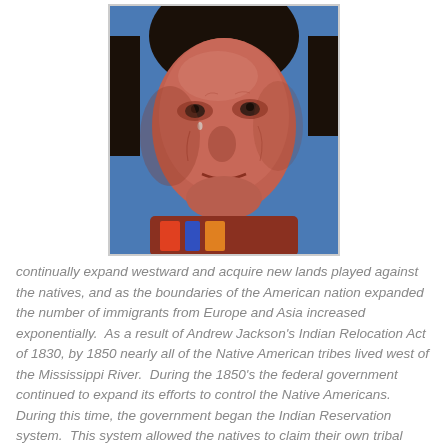[Figure (photo): Close-up photograph of a Native American man's face with weathered skin, a tear on his cheek, dark eyes, and dark hair. He appears to be wearing colorful clothing. The background is blue.]
continually expand westward and acquire new lands played against the natives, and as the boundaries of the American nation expanded the number of immigrants from Europe and Asia increased exponentially.  As a result of Andrew Jackson's Indian Relocation Act of 1830, by 1850 nearly all of the Native American tribes lived west of the Mississippi River.  During the 1850's the federal government continued to expand its efforts to control the Native Americans.  During this time, the government began the Indian Reservation system.  This system allowed the natives to claim their own tribal lands, protect their territories, govern themselves and still be safe from encroaching on areas where new settlers would be.  This policy was unpopular with the Natives Americans and their lack of willingness to